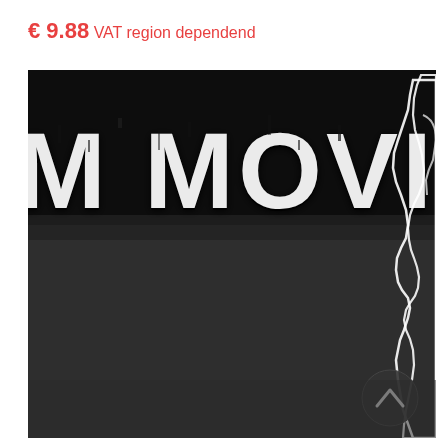€ 9.88 VAT region dependend
[Figure (photo): Album or movie cover artwork showing large white distressed block letters 'M MOVING' on a dark/black background, with a white silhouette of a person's profile on the right side. A dark circular button with a chevron/arrow icon is visible in the lower right area.]